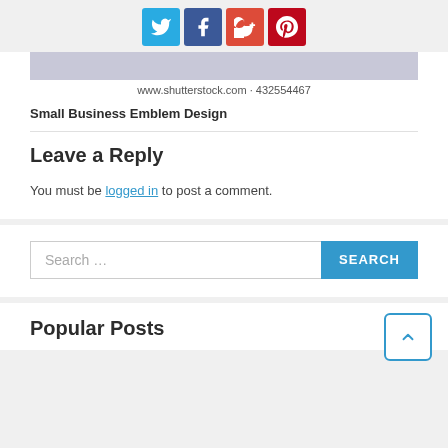[Figure (other): Social sharing icons: Twitter (blue), Facebook (dark blue), Google+ (red), Pinterest (red)]
[Figure (photo): Partial image area from shutterstock.com, image ID 432554467]
Small Business Emblem Design
Leave a Reply
You must be logged in to post a comment.
Search ...
Popular Posts